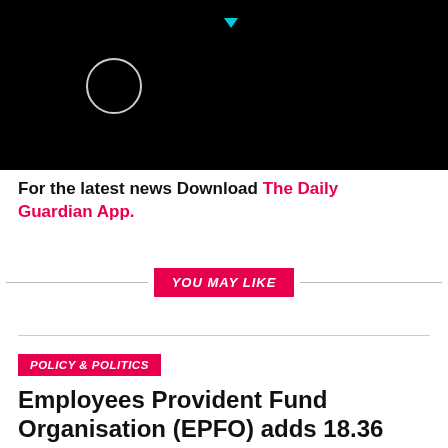[Figure (other): Black banner with a circle icon and a small cyan triangle above, suggesting a loading or video player UI element]
For the latest news Download The Daily Guardian App.
YOU MAY LIKE
POLICY & POLITICS
Employees Provident Fund Organisation (EPFO) adds 18.36 lakh members in June, 2022